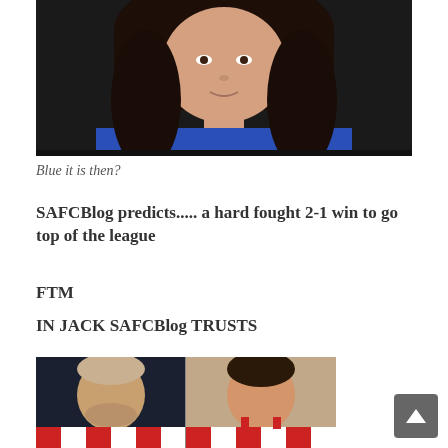[Figure (photo): Woman with long dark hair wearing a blue outfit, cropped photo showing face and upper body]
Blue it is then?
SAFCBlog predicts..... a hard fought 2-1 win to go top of the league
FTM
IN JACK SAFCBlog TRUSTS
[Figure (photo): Two football players wearing red and white striped jerseys]